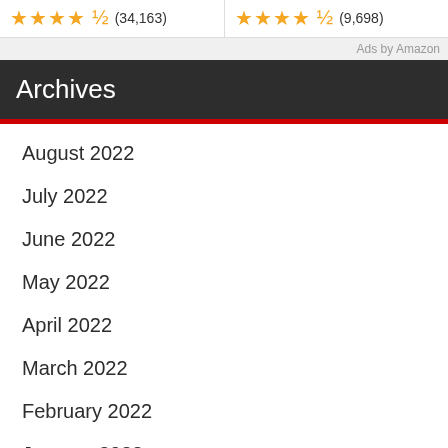★★★★½ (34,163)
★★★★½ (9,698)
Ads by Amazon
Archives
August 2022
July 2022
June 2022
May 2022
April 2022
March 2022
February 2022
January 2022
December 2021